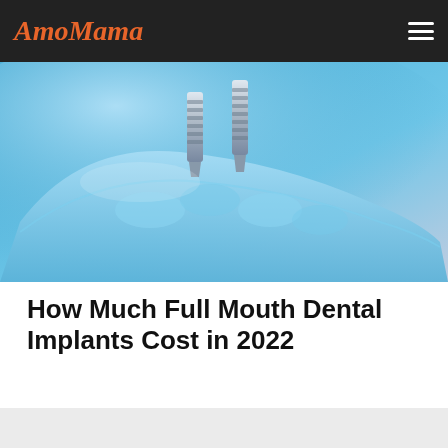AmoMama
[Figure (photo): Close-up photo of a dental implant model showing metal screws inserted into a blue dental mold, representing a full mouth dental implant procedure.]
How Much Full Mouth Dental Implants Cost in 2022
Dental Implants | Search ads